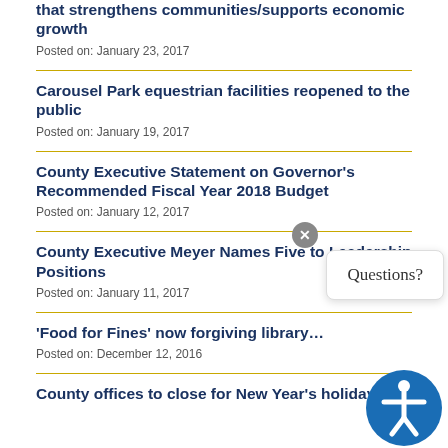that strengthens communities/supports economic growth
Posted on: January 23, 2017
Carousel Park equestrian facilities reopened to the public
Posted on: January 19, 2017
County Executive Statement on Governor's Recommended Fiscal Year 2018 Budget
Posted on: January 12, 2017
County Executive Meyer Names Five to Leadership Positions
Posted on: January 11, 2017
'Food for Fines' now forgiving library…
Posted on: December 12, 2016
County offices to close for New Year's holiday
[Figure (other): Chat widget with 'Questions?' label and close button, plus accessibility icon]